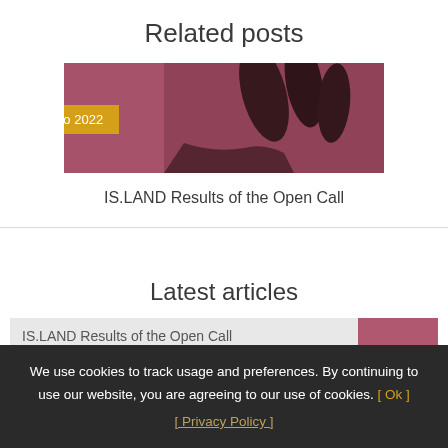Related posts
[Figure (photo): A pink/mauve toned photo showing microphones or similar dark cylindrical objects against a dusty rose background, with a yellow date badge overlay reading '8 Agosto 2022']
IS.LAND Results of the Open Call
Latest articles
IS.LAND Results of the Open Call
We use cookies to track usage and preferences. By continuing to use our website, you are agreeing to our use of cookies. [ Ok ] [ Privacy Policy ]